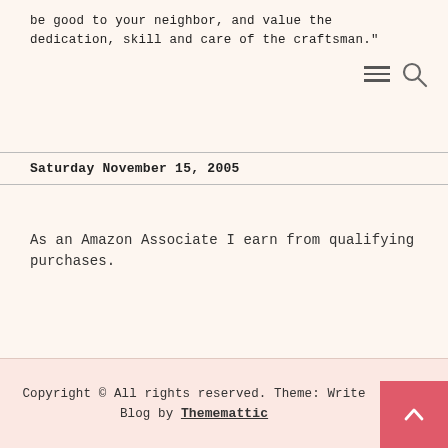be good to your neighbor, and value the dedication, skill and care of the craftsman."
Saturday November 15, 2005
As an Amazon Associate I earn from qualifying purchases.
Copyright © All rights reserved. Theme: Write Blog by Thememattic